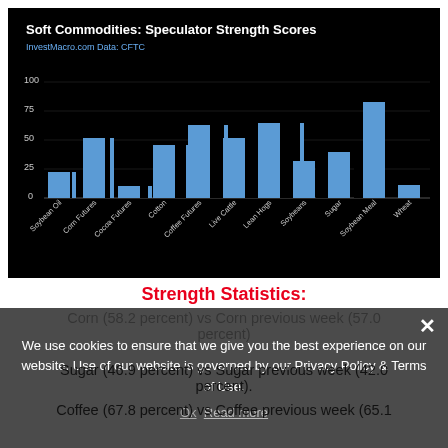[Figure (bar-chart): Soft Commodities: Speculator Strength Scores]
Strength Statistics:
Corn (58.2 percent) vs Corn previous week (57.0 percent)
Sugar (46.9 percent) vs Sugar previous week (42.0 percent)
Coffee (67.8 percent) vs Coffee previous week (65.1
We use cookies to ensure that we give you the best experience on our website. Use of our website is governed by our Privacy Policy & Terms of Use.